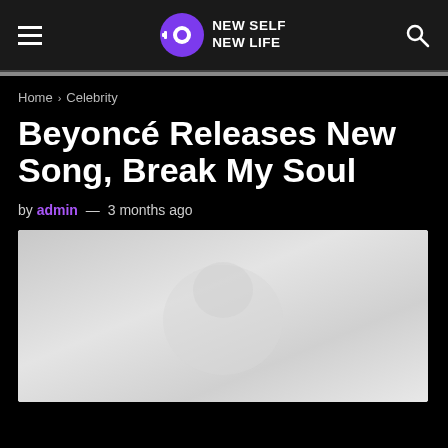NEW SELF NEW LIFE
Home > Celebrity
Beyoncé Releases New Song, Break My Soul
by admin — 3 months ago
[Figure (photo): A light grey placeholder image for the article about Beyoncé's new song Break My Soul]